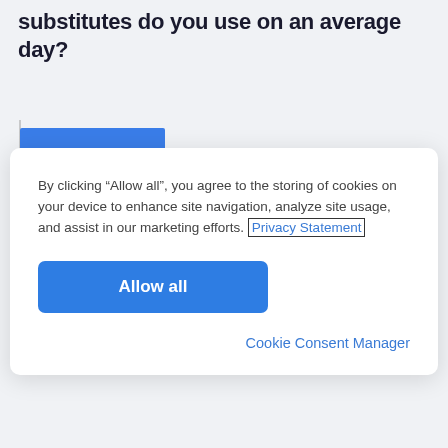substitutes do you use on an average day?
[Figure (other): Partial bar chart visible behind cookie consent modal — a blue horizontal bar is partially visible]
By clicking “Allow all”, you agree to the storing of cookies on your device to enhance site navigation, analyze site usage, and assist in our marketing efforts. Privacy Statement
Allow all
Cookie Consent Manager